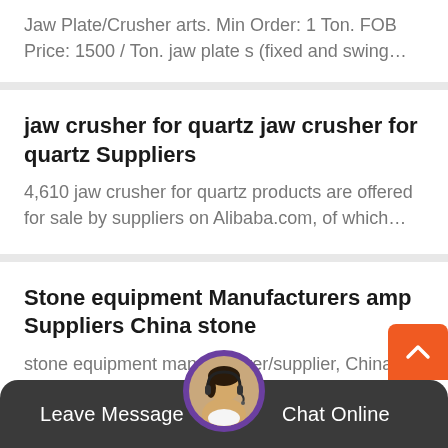Jaw Plate/Crusher arts. Min Order: 1 Ton. FOB Price: 1500 / Ton. jaw plate s (fixed and swing…
jaw crusher for quartz jaw crusher for quartz Suppliers
4,610 jaw crusher for quartz products are offered for sale by suppliers on Alibaba.com, of which…
Stone equipment Manufacturers amp Suppliers China stone
stone equipment manufacturer/supplier, China stone equipment manufacturer & factory list,…
Leave Message   Chat Online